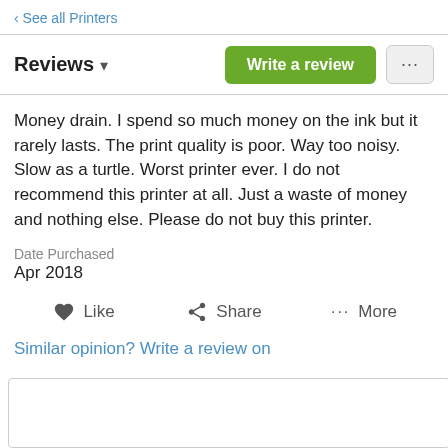‹ See all Printers
Reviews ▾
Money drain. I spend so much money on the ink but it rarely lasts. The print quality is poor. Way too noisy. Slow as a turtle. Worst printer ever. I do not recommend this printer at all. Just a waste of money and nothing else. Please do not buy this printer.
Date Purchased
Apr 2018
Like   Share   ··· More
Similar opinion? Write a review on